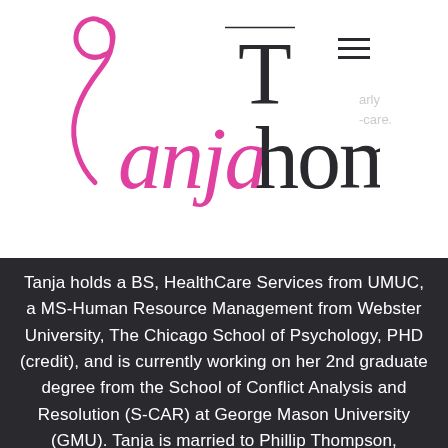[Figure (logo): Tanja Thompson brand logo in pink and dark cursive/serif font]
Tanja holds a BS, HealthCare Services from UMUC, a MS-Human Resource Management from Webster University, The Chicago School of Psychology, PHD (credit), and is currently working on her 2nd graduate degree from the School of Conflict Analysis and Resolution (S-CAR) at George Mason University (GMU). Tanja is married to Phillip Thompson, children, Artisha, Taylor, and Tysne and granddaughter Faith.